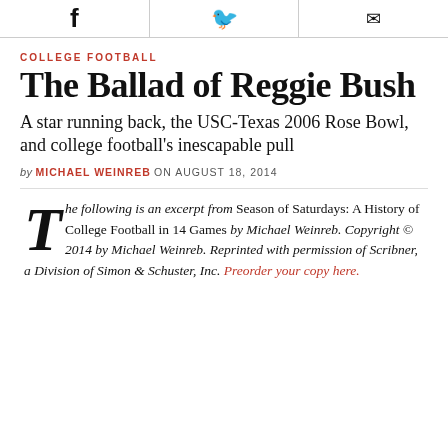[Social share icons: Facebook, Twitter, Email]
COLLEGE FOOTBALL
The Ballad of Reggie Bush
A star running back, the USC-Texas 2006 Rose Bowl, and college football's inescapable pull
by MICHAEL WEINREB ON AUGUST 18, 2014
The following is an excerpt from Season of Saturdays: A History of College Football in 14 Games by Michael Weinreb. Copyright © 2014 by Michael Weinreb. Reprinted with permission of Scribner, a Division of Simon & Schuster, Inc. Preorder your copy here.